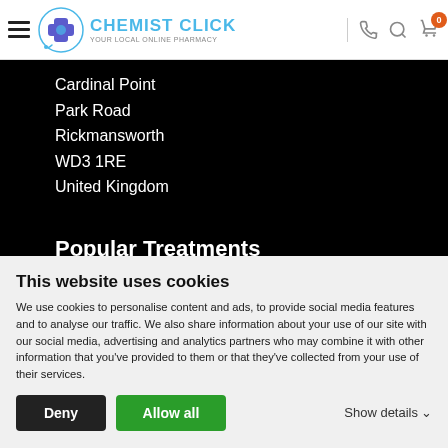[Figure (logo): Chemist Click pharmacy logo with blue cross and stethoscope in a circle, next to the text CHEMIST CLICK YOUR LOCAL ONLINE PHARMACY]
Cardinal Point
Park Road
Rickmansworth
WD3 1RE
United Kingdom
Popular Treatments
Chlamydia Treatment
Azithromycin Tablets
Azithromycin for Chlamydia
Tadalafil Tablets
This website uses cookies
We use cookies to personalise content and ads, to provide social media features and to analyse our traffic. We also share information about your use of our site with our social media, advertising and analytics partners who may combine it with other information that you've provided to them or that they've collected from your use of their services.